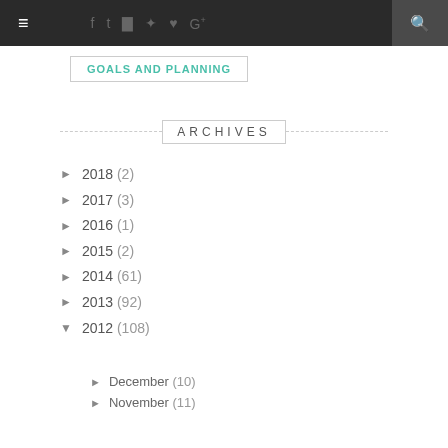≡ f t ☷ ℗ ♥ G+ 🔍
GOALS AND PLANNING
ARCHIVES
► 2018 (2)
► 2017 (3)
► 2016 (1)
► 2015 (2)
► 2014 (61)
► 2013 (92)
▼ 2012 (108)
► December (10)
► November (11)